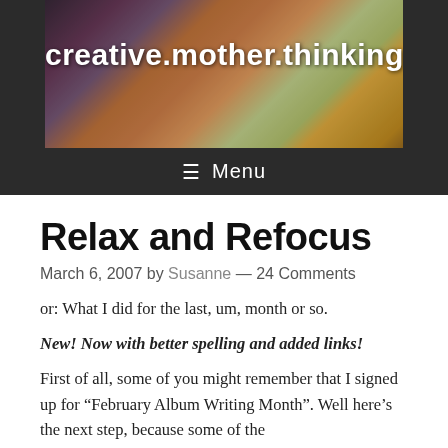[Figure (photo): Blog header image showing colorful crafts, yarn, and accessories with site title 'creative.mother.thinking' overlaid in white bold text]
Menu
Relax and Refocus
March 6, 2007 by Susanne — 24 Comments
or: What I did for the last, um, month or so.
New! Now with better spelling and added links!
First of all, some of you might remember that I signed up for “February Album Writing Month”. Well here’s the next step, because some of the